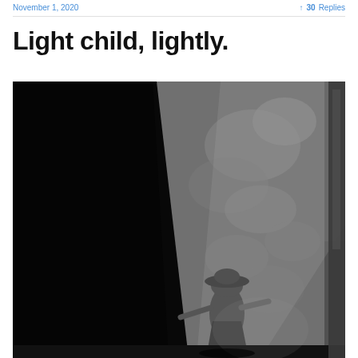November 1, 2020  •  30 Replies
Light child, lightly.
[Figure (photo): Black and white photograph of a young child wearing a wide-brimmed hat, arms outstretched, standing in a dramatic shaft of light against a large stone or rock wall. The scene is high contrast with deep shadows on the left and bright light illuminating the textured stone surface.]